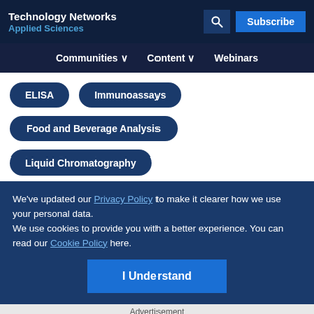Technology Networks Applied Sciences
ELISA
Immunoassays
Food and Beverage Analysis
Liquid Chromatography
We've updated our Privacy Policy to make it clearer how we use your personal data.
We use cookies to provide you with a better experience. You can read our Cookie Policy here.
I Understand
Advertisement
Need to provide repeatable and reliable results?
[Figure (logo): ThermoFisher Scientific logo in orange/red text]